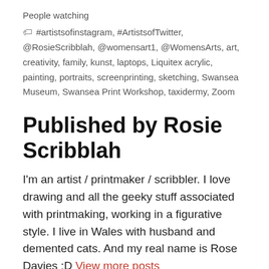People watching
#artistsofinstagram, #ArtistsofTwitter, @RosieScribblah, @womensart1, @WomensArts, art, creativity, family, kunst, laptops, Liquitex acrylic, painting, portraits, screenprinting, sketching, Swansea Museum, Swansea Print Workshop, taxidermy, Zoom
Published by Rosie Scribblah
I'm an artist / printmaker / scribbler. I love drawing and all the geeky stuff associated with printmaking, working in a figurative style. I live in Wales with husband and demented cats. And my real name is Rose Davies :D View more posts